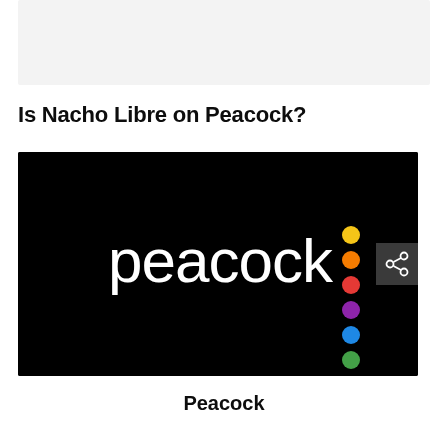[Figure (other): Gray placeholder banner at top of page]
Is Nacho Libre on Peacock?
[Figure (logo): Peacock streaming service logo on black background. White lowercase 'peacock' wordmark with colorful vertical dot arrangement (yellow, orange, red, purple, blue, green) to the right. A share icon button overlays the right edge.]
Peacock